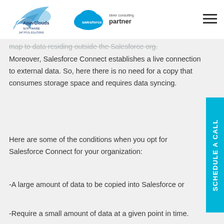[Figure (logo): AnavClouds Software logo and Salesforce Silver Consulting Partner logo in white header bar]
map to data residing outside the Salesforce org. Moreover, Salesforce Connect establishes a live connection to external data. So, here there is no need for a copy that consumes storage space and requires data syncing.
Here are some of the conditions when you opt for Salesforce Connect for your organization:
-A large amount of data to be copied into Salesforce or
-Require a small amount of data at a given point in time.